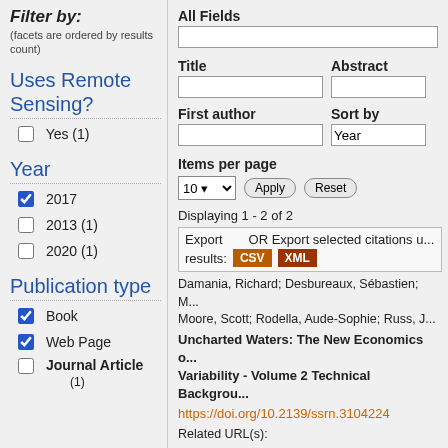Filter by:
(facets are ordered by results count)
Uses Remote Sensing?
Yes (1)
Year
2017 [checked]
2013 (1)
2020 (1)
Publication type
Book [checked]
Web Page [checked]
Journal Article (1)
All Fields
Title
Abstract
First author
Sort by
Items per page
Displaying 1 - 2 of 2
Export  OR Export selected citations u... results: CSV XML
Damania, Richard; Desbureaux, Sébastien; Moore, Scott; Rodella, Aude-Sophie; Russ, J...
Uncharted Waters: The New Economics o... Variability - Volume 2 Technical Backgrou...
https://doi.org/10.2139/ssrn.3104224
Related URL(s):
http://openknowledge.worldbank.org/bit...